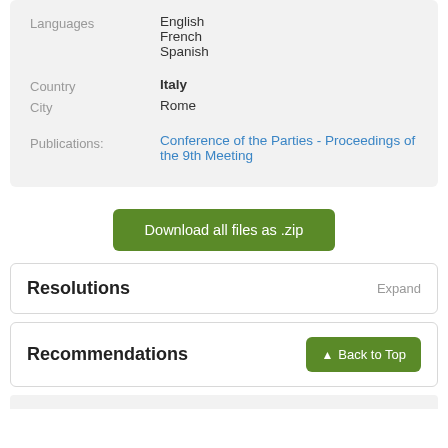Languages: English, French, Spanish
Country: Italy
City: Rome
Publications: Conference of the Parties - Proceedings of the 9th Meeting
Download all files as .zip
Resolutions
Recommendations